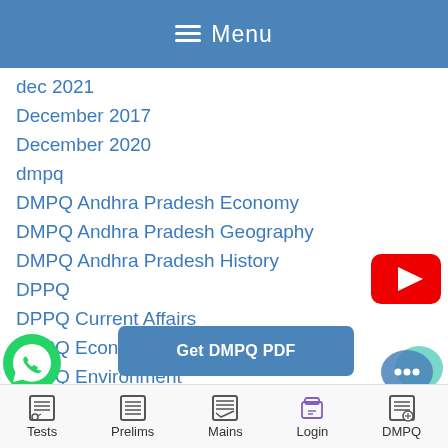☰ Menu
dec 2021
December 2017
December 2020
dmpq
DMPQ Andhra Pradesh Economy
DMPQ Andhra Pradesh Geography
DMPQ Andhra Pradesh History
DPPQ
DPPQ Current Affairs
DPPQ Economy
DPPQ Environment
[Figure (logo): YouTube play button logo (red with white triangle)]
[Figure (infographic): Get DMPQ PDF button (blue rounded rectangle)]
[Figure (logo): WhatsApp green phone icon]
[Figure (logo): Chat bubble icon (teal/blue)]
Tests   Prelims   Mains   Login   DMPQ